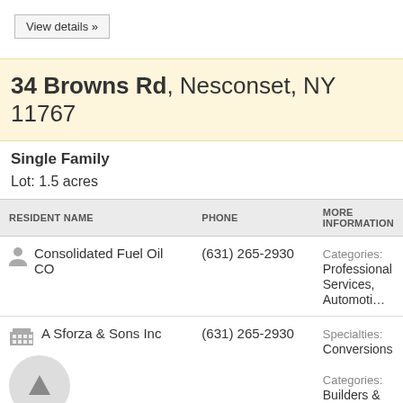View details »
34 Browns Rd, Nesconset, NY 11767
Single Family
Lot: 1.5 acres
| RESIDENT NAME | PHONE | MORE INFORMATION |
| --- | --- | --- |
| Consolidated Fuel Oil CO | (631) 265-2930 | Categories: Professional Services, Automoti… |
| A Sforza & Sons Inc | (631) 265-2930 | Specialties: Conversions
Categories: Builders & Contractors, Buildin… |